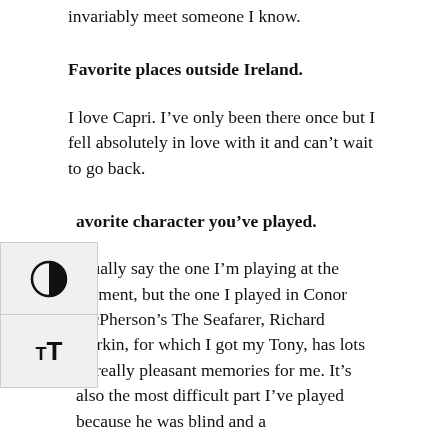invariably meet someone I know.
Favorite places outside Ireland.
I love Capri. I’ve only been there once but I fell absolutely in love with it and can’t wait to go back.
avorite character you’ve played.
usually say the one I’m playing at the moment, but the one I played in Conor McPherson’s The Seafarer, Richard Harkin, for which I got my Tony, has lots of really pleasant memories for me. It’s also the most difficult part I’ve played because he was blind and a